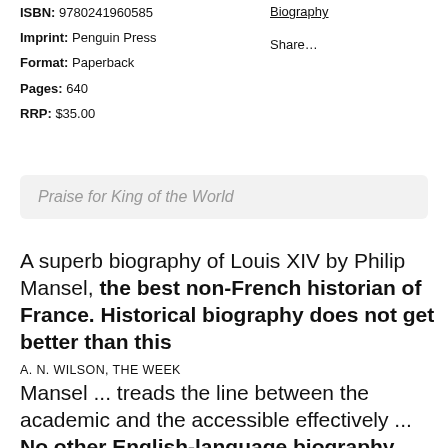ISBN: 9780241960585
Imprint: Penguin Press
Format: Paperback
Pages: 640
RRP: $35.00
Biography
Share…
Praise for King of the World
A superb biography of Louis XIV by Philip Mansel, the best non-French historian of France. Historical biography does not get better than this
A. N. WILSON, THE WEEK
Mansel ... treads the line between the academic and the accessible effectively ... No other English-language biography has so